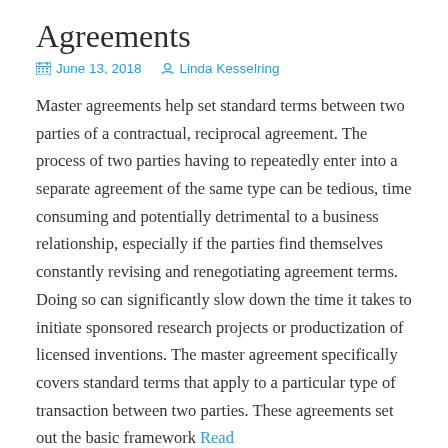Agreements
June 13, 2018   Linda Kesselring
Master agreements help set standard terms between two parties of a contractual, reciprocal agreement. The process of two parties having to repeatedly enter into a separate agreement of the same type can be tedious, time consuming and potentially detrimental to a business relationship, especially if the parties find themselves constantly revising and renegotiating agreement terms. Doing so can significantly slow down the time it takes to initiate sponsored research projects or productization of licensed inventions. The master agreement specifically covers standard terms that apply to a particular type of transaction between two parties. These agreements set out the basic framework Read